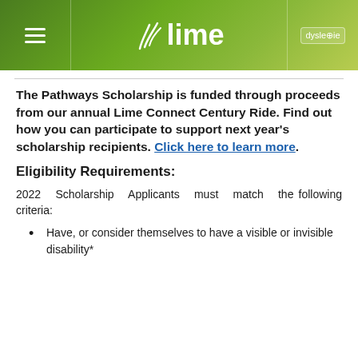lime | dyslexie
The Pathways Scholarship is funded through proceeds from our annual Lime Connect Century Ride. Find out how you can participate to support next year's scholarship recipients. Click here to learn more.
Eligibility Requirements:
2022 Scholarship Applicants must match the following criteria:
Have, or consider themselves to have a visible or invisible disability*